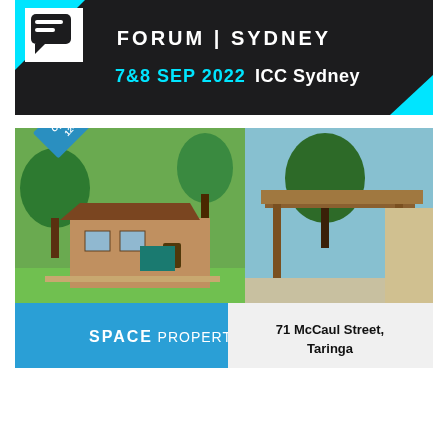[Figure (infographic): Dark banner for Property Forum Sydney event: '7&8 SEP 2022  ICC Sydney' with cyan accents and white logo box]
[Figure (photo): Real estate listing photo for 71 McCaul Street, Taringa. Two photos of a brick house with trees, an open carport. Blue ribbon says 'Open Saturday 12-12.45pm'. Bottom bar: SPACE PROPERTY logo on left (blue), address on right (light background).]